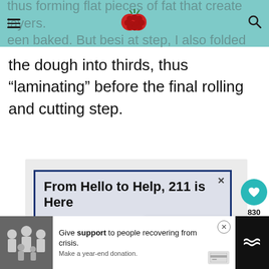thus forming flat pieces of fat that create layers. been baked. But besides that step, I also folded
the dough into thirds, thus “laminating” before the final rolling and cutting step.
[Figure (screenshot): Advertisement banner reading 'From Hello to Help, 211 is Here' with blue border on light grey background, with close X button]
[Figure (infographic): Heart/like button (teal circle) with count 830, and share button below on right side]
[Figure (infographic): What's Next card with circular food image and text 'WHAT'S NEXT -> Classic Buttermilk...']
[Figure (screenshot): Bottom advertisement bar with family image, text 'Give support to people recovering from crisis. Make a year-end donation.' with close X and credit card icon, plus Tidal logo on right]